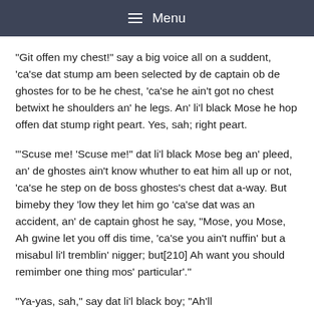Menu
"Git offen my chest!" say a big voice all on a suddent, ‘ca’se dat stump am been selected by de captain ob de ghostes for to be he chest, ‘ca’se he ain’t got no chest betwixt he shoulders an’ he legs. An’ li’l black Mose he hop offen dat stump right peart. Yes, sah; right peart.
"‘Scuse me! ‘Scuse me!" dat li’l black Mose beg an’ pleed, an’ de ghostes ain’t know whuther to eat him all up or not, ‘ca’se he step on de boss ghostes’s chest dat a-way. But bimeby they ‘low they let him go ‘ca’se dat was an accident, an’ de captain ghost he say, "Mose, you Mose, Ah gwine let you off dis time, ‘ca’se you ain’t nuffin’ but a misabul li’l tremblin’ nigger; but[210] Ah want you should remimber one thing mos’ particular’."
"Ya-yas, sah," say dat li’l black boy; "Ah’ll